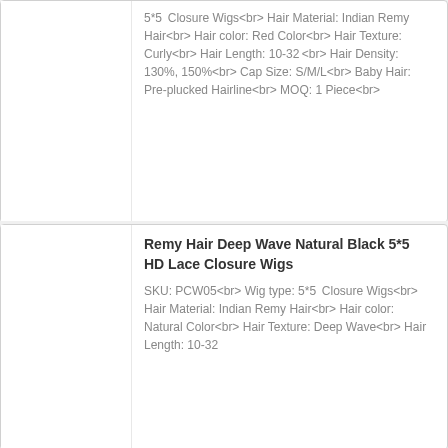5*5 Closure Wigs<br> Hair Material: Indian Remy Hair<br> Hair color: Red Color<br> Hair Texture: Curly<br> Hair Length: 10-32<br> Hair Density: 130%, 150%<br> Cap Size: S/M/L<br> Baby Hair: Pre-plucked Hairline<br> MOQ: 1 Piece<br>
Remy Hair Deep Wave Natural Black 5*5 HD Lace Closure Wigs
SKU: PCW05<br> Wig type: 5*5 Closure Wigs<br> Hair Material: Indian Remy Hair<br> Hair color: Natural Color<br> Hair Texture: Deep Wave<br> Hair Length: 10-32